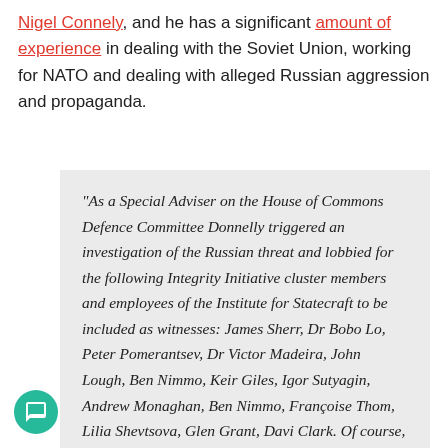Nigel Connely, and he has a significant amount of experience in dealing with the Soviet Union, working for NATO and dealing with alleged Russian aggression and propaganda.
“As a Special Adviser on the House of Commons Defence Committee Donnelly triggered an investigation of the Russian threat and lobbied for the following Integrity Initiative cluster members and employees of the Institute for Statecraft to be included as witnesses: James Sherr, Dr Bobo Lo, Peter Pomerantsev, Dr Victor Madeira, John Lough, Ben Nimmo, Keir Giles, Igor Sutyagin, Andrew Monaghan, Ben Nimmo, Françoise Thom, Lilia Shevtsova, Glen Grant, Davi Clark. Of course, he was there as well.”
4